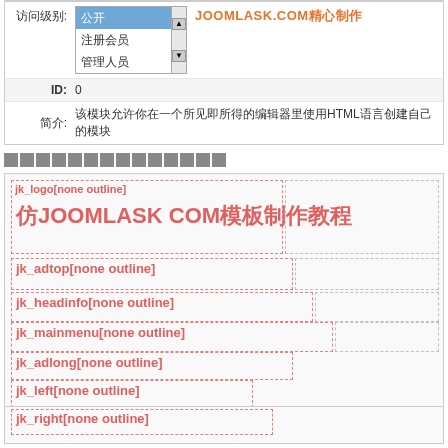| 访问级别: | 公开 / 注册会员 / 管理人员 |
| ID: | 0 |
| 简介: | 该模块允许你在一个所见即所得的编辑器里使用HTML语言创建自己的模块 |
▪▪▪▪▪▪▪▪▪▪▪▪▪▪
[Figure (screenshot): Layout editor showing module position zones with dashed red borders: jk_logo, jk_adtop, jk_headinfo, jk_mainmenu, jk_adlong, jk_left, jk_right, jk_user1, and large text '仿JOOMLASK COM模板制作教程']